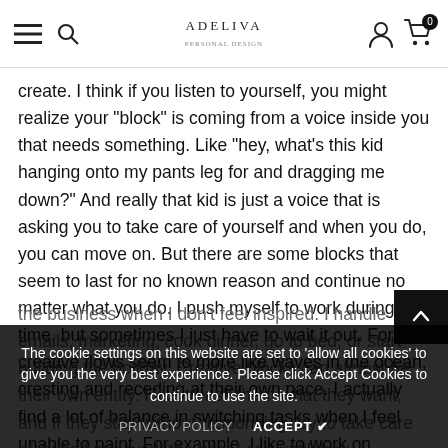ADELIVA [hamburger menu, search, user, cart icons]
create. I think if you listen to yourself, you might realize your "block" is coming from a voice inside you that needs something. Like "hey, what's this kid hanging onto my pants leg for and dragging me down?" And really that kid is just a voice that is asking you to take care of yourself and when you do, you can move on. But there are some blocks that seem to last for no known reason and continue no matter what you do. I push myself to work during this time, but sometimes I just have to wait it out. For me, creative flows seem to more like waves in the ocean, cresting and receding at their own pace. I actually find a lot of balance in switching tasks when I feel unable to paint. For example, I like to work on administrative sides of
the business when I don't feel inspired. I handle emails, marketing, cook dinner, go to bed, or start building the holiday. Creative blocks can almost be their own entity. I like to ask them what they want, and if they stay without responding, try to take care of myself and work the best I can until they
The cookie settings on this website are set to 'allow all cookies' to give you the very best experience. Please click Accept Cookies to continue to use the site.
PRIVACY POLICY   ACCEPT ✔